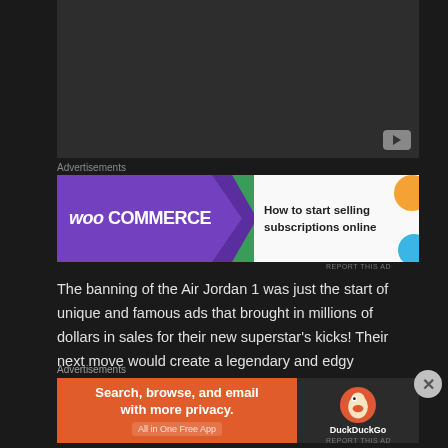[Figure (screenshot): Dark video player area with YouTube play button in bottom right corner]
Advertisements
[Figure (screenshot): WooCommerce advertisement banner: 'How to start selling subscriptions online']
REPORT THIS AD
The banning of the Air Jordan 1 was just the start of unique and famous ads that brought in millions of dollars in sales for their new superstar's kicks! Their next move would create a legendary and edgy advertisement that would be remembered for years to come. Nike brought in
Advertisements
[Figure (screenshot): DuckDuckGo advertisement: 'Search, browse, and email with more privacy. All in One Free App' with DuckDuckGo logo on dark right panel]
REPORT THIS AD